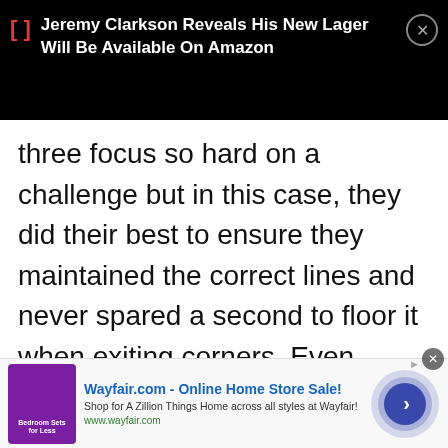[Figure (screenshot): Black notification bar with red bracket icon and white bold text: Jeremy Clarkson Reveals His New Lager Will Be Available On Amazon, with a close button]
three focus so hard on a challenge but in this case, they did their best to ensure they maintained the correct lines and never spared a second to floor it when exiting corners. Even James May got the track fever!
[Figure (photo): Partial photo showing what appears to be a garage or building with horizontal panel doors in grey tones]
[Figure (screenshot): Advertisement banner: Wayfair.com - Online Home Store Sale! Shop for A Zillion Things Home across all styles at Wayfair! www.wayfair.com with a purple thumbnail and blue arrow button]